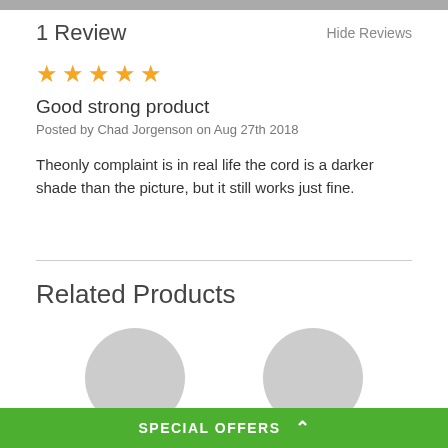1 Review
Hide Reviews
[Figure (other): Five yellow star rating icons]
Good strong product
Posted by Chad Jorgenson on Aug 27th 2018
Theonly complaint is in real life the cord is a darker shade than the picture, but it still works just fine.
Related Products
[Figure (photo): Two partially visible circular product images at the bottom of the page]
SPECIAL OFFERS